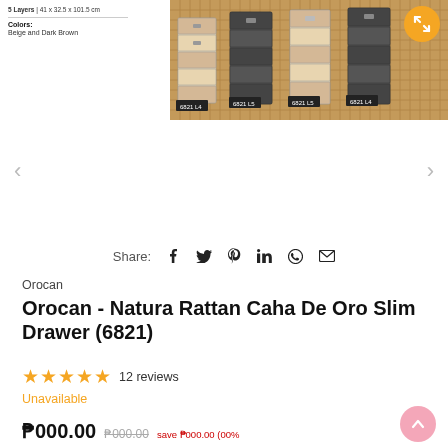[Figure (photo): Product image of Orocan Natura Rattan Caha De Oro Slim Drawer (6821) showing multiple drawer units with rattan texture in beige and dark brown colors, with SKU labels 6821 L4, 6821 L5 visible]
5 Layers | 41 x 32.5 x 101.5 cm
Colors:
Beige and Dark Brown
Share:
Orocan
Orocan - Natura Rattan Caha De Oro Slim Drawer (6821)
★★★★★ 12 reviews
Unavailable
₱000.00